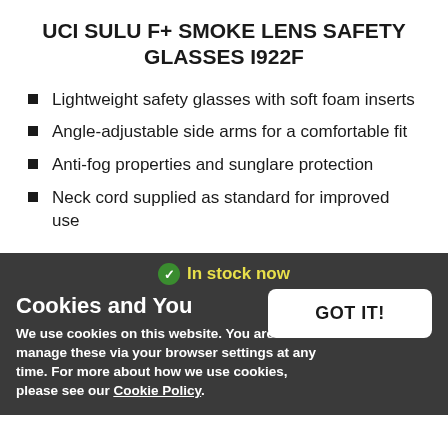UCI SULU F+ SMOKE LENS SAFETY GLASSES I922F
Lightweight safety glasses with soft foam inserts
Angle-adjustable side arms for a comfortable fit
Anti-fog properties and sunglare protection
Neck cord supplied as standard for improved use
In stock now
Cookies and You
We use cookies on this website. You are free to manage these via your browser settings at any time. For more about how we use cookies, please see our Cookie Policy.